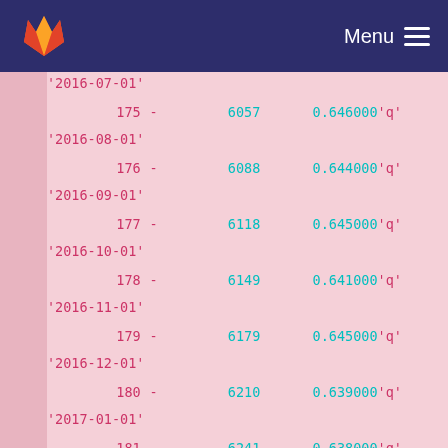[Figure (screenshot): GitLab navigation bar with orange fox logo on the left and Menu with hamburger icon on the right, dark navy blue background]
| index |  | col1 | col2 | col3 | date |
| --- | --- | --- | --- | --- | --- |
|  |  |  |  |  | '2016-07-01' |
| 175 | - | 6057 | 0.646000 | 'q' | '2016-08-01' |
| 176 | - | 6088 | 0.644000 | 'q' | '2016-09-01' |
| 177 | - | 6118 | 0.645000 | 'q' | '2016-10-01' |
| 178 | - | 6149 | 0.641000 | 'q' | '2016-11-01' |
| 179 | - | 6179 | 0.645000 | 'q' | '2016-12-01' |
| 180 | - | 6210 | 0.639000 | 'q' | '2017-01-01' |
| 181 | - | 6241 | 0.638000 | 'q' | '2017-02-01' |
| 182 | - | 6269 | 0.638000 | 'q' | '2017-03-01' |
| 183 | - | 6274 | 0.638000 | 'q' | '2017-03-06' |
| 184 | - | 6300 | 0.638000 | 'q' |  |